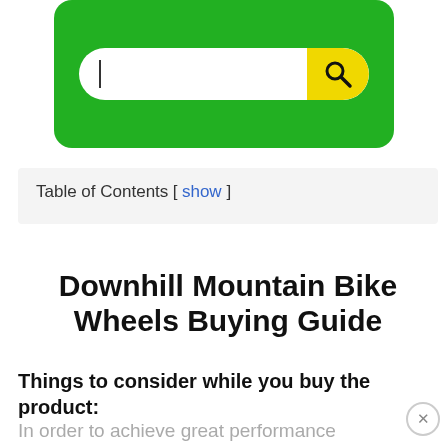[Figure (screenshot): Green search bar UI with white rounded search input field and yellow search button with magnifying glass icon]
Table of Contents [ show ]
Downhill Mountain Bike Wheels Buying Guide
Things to consider while you buy the product:
In order to achieve great performance